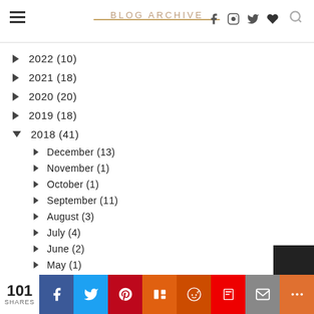BLOG ARCHIVE
▶ 2022 (10)
▶ 2021 (18)
▶ 2020 (20)
▶ 2019 (18)
▼ 2018 (41)
► December (13)
► November (1)
► October (1)
► September (11)
► August (3)
► July (4)
► June (2)
► May (1)
► April (1)
101 SHARES